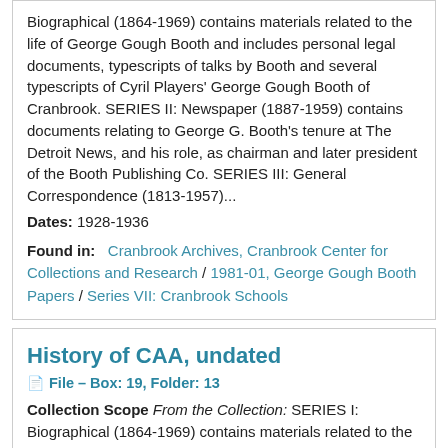Biographical (1864-1969) contains materials related to the life of George Gough Booth and includes personal legal documents, typescripts of talks by Booth and several typescripts of Cyril Players' George Gough Booth of Cranbrook. SERIES II: Newspaper (1887-1959) contains documents relating to George G. Booth's tenure at The Detroit News, and his role, as chairman and later president of the Booth Publishing Co. SERIES III: General Correspondence (1813-1957)...
Dates: 1928-1936
Found in: Cranbrook Archives, Cranbrook Center for Collections and Research / 1981-01, George Gough Booth Papers / Series VII: Cranbrook Schools
History of CAA, undated
File – Box: 19, Folder: 13
Collection Scope From the Collection: SERIES I: Biographical (1864-1969) contains materials related to the life of George Gough Booth and includes personal legal documents, typescripts of talks by